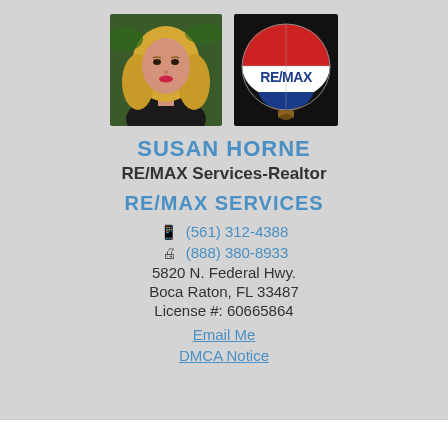[Figure (photo): Headshot of Susan Horne, a blonde woman]
[Figure (logo): RE/MAX hot air balloon logo on black background]
SUSAN HORNE
RE/MAX Services-Realtor
RE/MAX SERVICES
(561) 312-4388
(888) 380-8933
5820 N. Federal Hwy.
Boca Raton, FL 33487
License #: 60665864
Email Me
DMCA Notice